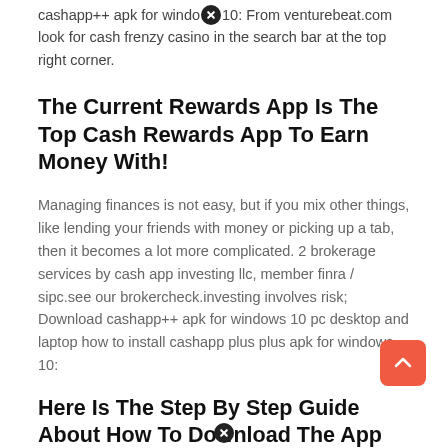cashapp++ apk for windows 10: From venturebeat.com look for cash frenzy casino in the search bar at the top right corner.
The Current Rewards App Is The Top Cash Rewards App To Earn Money With!
Managing finances is not easy, but if you mix other things, like lending your friends with money or picking up a tab, then it becomes a lot more complicated. 2 brokerage services by cash app investing llc, member finra / sipc.see our brokercheck.investing involves risk; Download cashapp++ apk for windows 10 pc desktop and laptop how to install cashapp plus plus apk for windows 10:
Here Is The Step By Step Guide About How To Download The App For Windows Desktop & Mac Computer